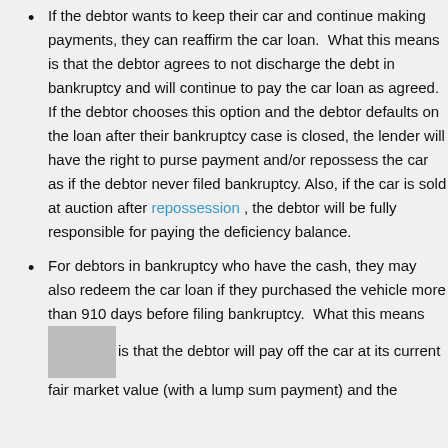If the debtor wants to keep their car and continue making payments, they can reaffirm the car loan.  What this means is that the debtor agrees to not discharge the debt in bankruptcy and will continue to pay the car loan as agreed.  If the debtor chooses this option and the debtor defaults on the loan after their bankruptcy case is closed, the lender will have the right to purse payment and/or repossess the car as if the debtor never filed bankruptcy. Also, if the car is sold at auction after repossession , the debtor will be fully responsible for paying the deficiency balance.
For debtors in bankruptcy who have the cash, they may also redeem the car loan if they purchased the vehicle more than 910 days before filing bankruptcy.  What this means is that the debtor will pay off the car at its current fair market value (with a lump sum payment) and the